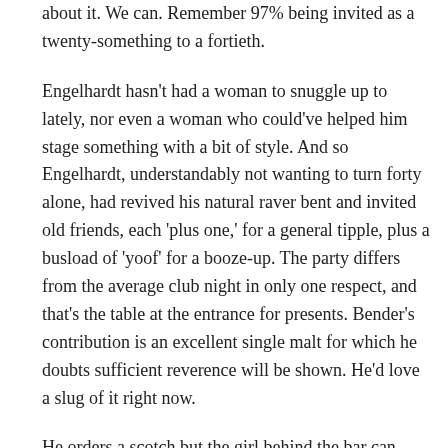about it. We can. Remember 97% being invited as a twenty-something to a fortieth.
Engelhardt hasn't had a woman to snuggle up to lately, nor even a woman who could've helped him stage something with a bit of style. And so Engelhardt, understandably not wanting to turn forty alone, had revived his natural raver bent and invited old friends, each 'plus one,' for a general tipple, plus a busload of 'yoof' for a booze-up. The party differs from the average club night in only one respect, and that's the table at the entrance for presents. Bender's contribution is an excellent single malt for which he doubts sufficient reverence will be shown. He'd love a slug of it right now.
He orders a scotch but the girl behind the bar can only